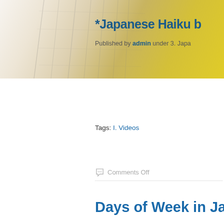[Figure (photo): Blog header banner with faded Japanese/bamboo imagery in gold and grey tones]
*Japanese Haiku b
Published by admin under 3. Japa
Tags: I. Videos
Comments Off
Days of Week in Ja
Published by admin under 5. iPodA
Tags: GCSE Vocabulary, I. Vid
No responses yet
How to tell time in J
Published by admin under 5. iPod/